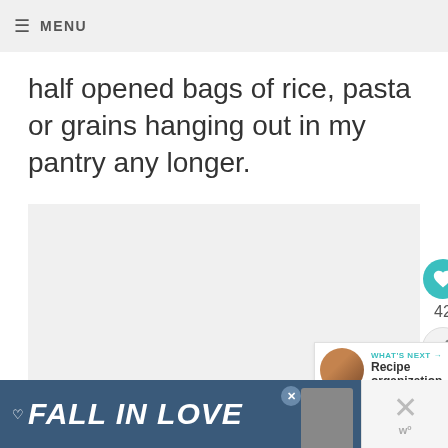MENU
half opened bags of rice, pasta or grains hanging out in my pantry any longer.
[Figure (other): Large image placeholder area (light gray), with social interaction buttons (heart/like button showing 42 likes, share button) on the right side, and a 'WHAT'S NEXT' panel showing 'Recipe organization' with a thumbnail.]
[Figure (screenshot): Advertisement banner at bottom: 'FALL IN LOVE' text on dark blue background with a dog image, close button, and a side panel with X and 'w' logo.]